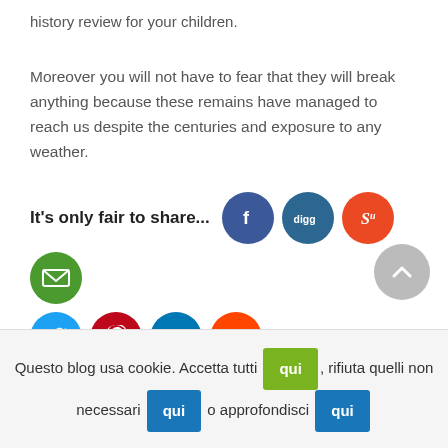history review for your children.
Moreover you will not have to fear that they will break anything because these remains have managed to reach us despite the centuries and exposure to any weather.
[Figure (infographic): It's only fair to share... followed by social media icons: Facebook, Digg, StumbleUpon, Email, Twitter, Pinterest, LinkedIn, Reddit]
Questo blog usa cookie. Accetta tutti [qui] rifiuta quelli non necessari [qui] o approfondisci [qui]